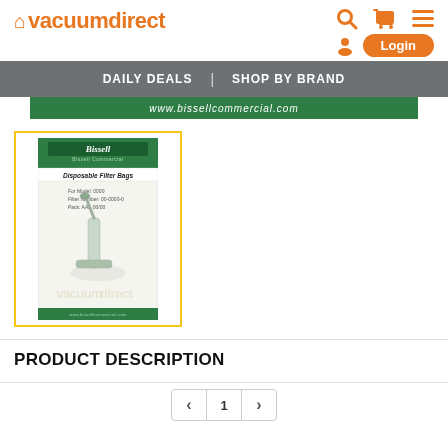vacuumdirect — Daily Deals | Shop By Brand
[Figure (screenshot): Bissell Commercial Disposable Filter Bags product package image, shown within a yellow-bordered box]
[Figure (screenshot): Bissell Commercial green banner with website URL www.bissellcommercial.com]
PRODUCT DESCRIPTION